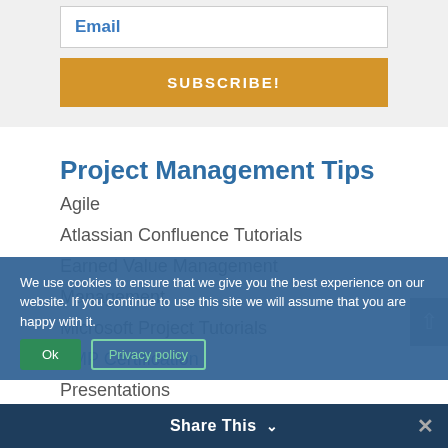Email
SUBSCRIBE!
Project Management Tips
Agile
Atlassian Confluence Tutorials
Earned Value Management
Management
Microsoft Project Tutorials
PMP Certification
Presentations
We use cookies to ensure that we give you the best experience on our website. If you continue to use this site we will assume that you are happy with it.
Ok
Privacy policy
Share This